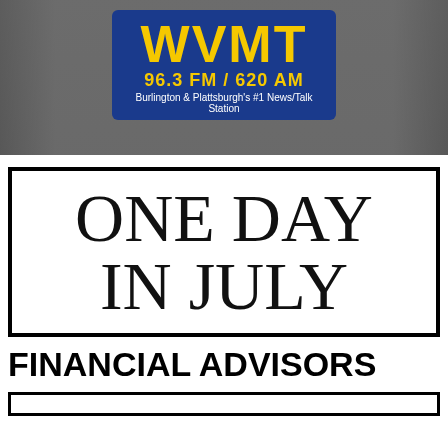[Figure (logo): WVMT radio station banner with logo showing 96.3 FM / 620 AM, Burlington & Plattsburgh's #1 News/Talk Station, over a traffic photo background]
ONE DAY IN JULY
FINANCIAL ADVISORS
[Figure (other): Bottom bordered box, partially visible]